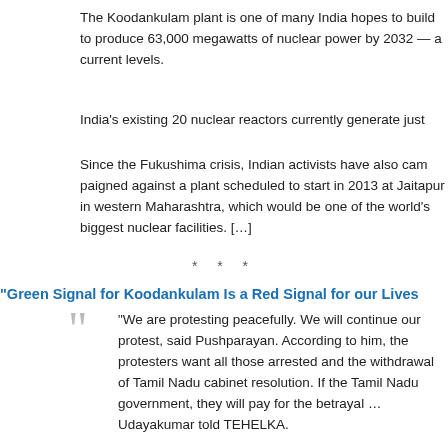The Koodankulam plant is one of many India hopes to build to produce 63,000 megawatts of nuclear power by 2032 — a ambitious rise from current levels.
India's existing 20 nuclear reactors currently generate just
Since the Fukushima crisis, Indian activists have also campaigned against a plant scheduled to start in 2013 at Jaitapur in western Maharashtra, which would be one of the world's biggest nuclear facilities. […]
* * *
“Green Signal for Koodankulam Is a Red Signal for our Lives
“We are protesting peacefully. We will continue our protest,” said Pushparayan. According to him, the protesters want all those arrested and the withdrawal of Tamil Nadu cabinet resolution. If the Tamil Nadu government, they will pay for the betrayal … Udayakumar told TEHELKA.